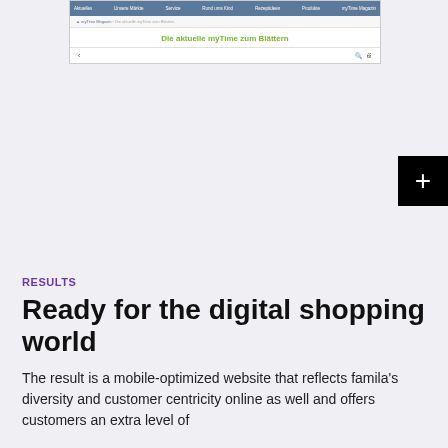[Figure (screenshot): Screenshot of a website showing a navigation bar with blue background, breadcrumb navigation, and green text reading 'Die aktuelle myTime zum Blättern', with a bottom bar containing arrow and icons]
RESULTS
Ready for the digital shopping world
The result is a mobile-optimized website that reflects famila's diversity and customer centricity online as well and offers customers an extra level of